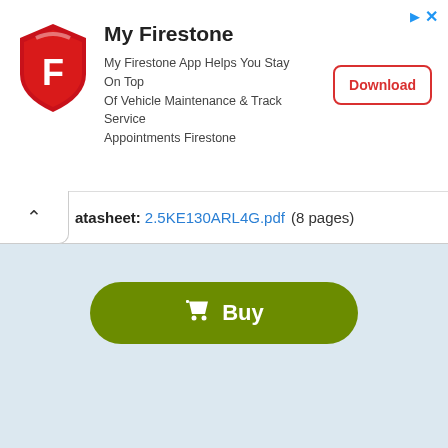[Figure (screenshot): My Firestone app advertisement banner with shield logo, title 'My Firestone', description text, and Download button]
atasheet:
2.5KE130ARL4G.pdf  (8 pages)
[Figure (other): Green Buy button with shopping cart icon]